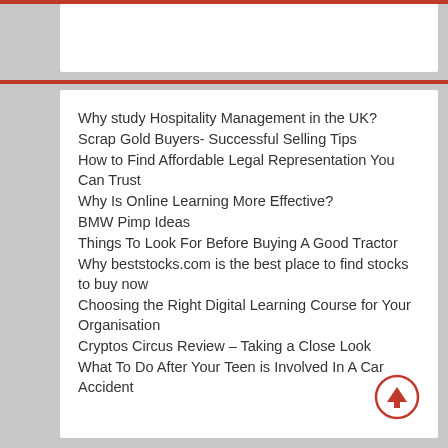Why study Hospitality Management in the UK?
Scrap Gold Buyers- Successful Selling Tips
How to Find Affordable Legal Representation You Can Trust
Why Is Online Learning More Effective?
BMW Pimp Ideas
Things To Look For Before Buying A Good Tractor
Why beststocks.com is the best place to find stocks to buy now
Choosing the Right Digital Learning Course for Your Organisation
Cryptos Circus Review – Taking a Close Look
What To Do After Your Teen is Involved In A Car Accident